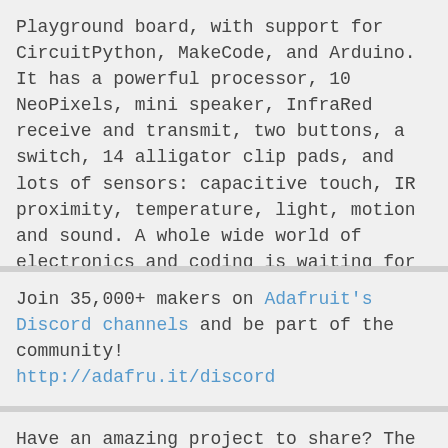Playground board, with support for CircuitPython, MakeCode, and Arduino. It has a powerful processor, 10 NeoPixels, mini speaker, InfraRed receive and transmit, two buttons, a switch, 14 alligator clip pads, and lots of sensors: capacitive touch, IR proximity, temperature, light, motion and sound. A whole wide world of electronics and coding is waiting for you, and it fits in the palm of your hand.
Join 35,000+ makers on Adafruit's Discord channels and be part of the community! http://adafru.it/discord
Have an amazing project to share? The Electronics Show and Tell is every Wednesday at 7pm ET! To join, head over to YouTube and check out the show's live chat – we'll post the link there.
Join us every Wednesday night at 8pm ET for Ask an Engineer!